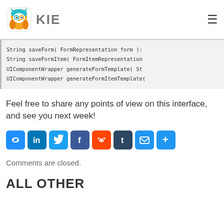KIE
String saveForm( FormRepresentation form ):
String saveFormItem( FormItemRepresentation...
UIComponentWrapper generateFormTemplate( St...
UIComponentWrapper generateFormItemTemplate(
Feel free to share any points of view on this interface, and see you next week!
[Figure (infographic): Row of social share icon buttons: link, LinkedIn, Twitter, Facebook, Reddit, Tumblr, Email, Share]
Comments are closed.
ALL OTHER